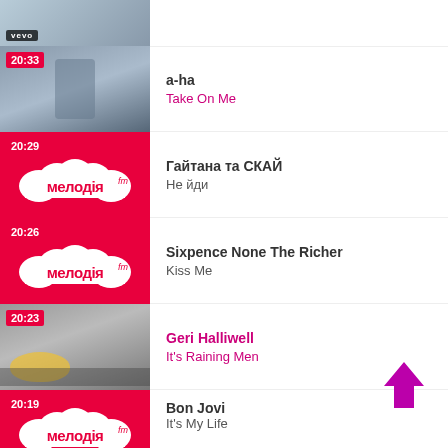[Figure (screenshot): Partial thumbnail of previous video (vevo) at top of screen]
20:33 a-ha Take On Me
20:29 Гайтана та СКАЙ Не йди
20:26 Sixpence None The Richer Kiss Me
20:23 Geri Halliwell It's Raining Men
20:19 Bon Jovi It's My Life
[Figure (illustration): Pink upward arrow scroll button]